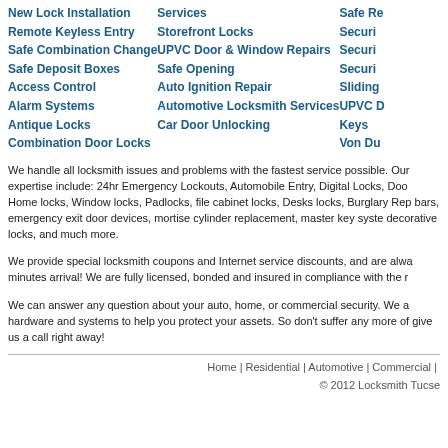New Lock Installation
Remote Keyless Entry
Safe Combination Change
Safe Deposit Boxes
Access Control
Alarm Systems
Antique Locks
Combination Door Locks
Services
Storefront Locks
UPVC Door & Window Repairs
Safe Opening
Auto Ignition Repair
Automotive Locksmith Services
Car Door Unlocking
Safe Re...
Securi...
Securi...
Securi...
Sliding...
UPVC D...
Keys
Von Du...
We handle all locksmith issues and problems with the fastest service possible. Our expertise include: 24hr Emergency Lockouts, Automobile Entry, Digital Locks, Door Home locks, Window locks, Padlocks, file cabinet locks, Desks locks, Burglary Rep bars, emergency exit door devices, mortise cylinder replacement, master key syste decorative locks, and much more.
We provide special locksmith coupons and Internet service discounts, and are alwa minutes arrival! We are fully licensed, bonded and insured in compliance with the r
We can answer any question about your auto, home, or commercial security. We a hardware and systems to help you protect your assets. So don't suffer any more of give us a call right away!
Home | Residential | Automotive | Commercial | ... © 2012 Locksmith Tucse...